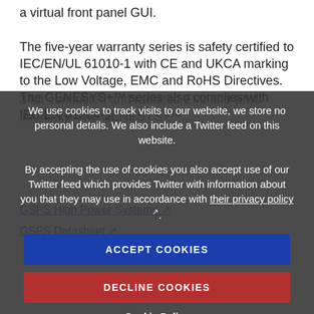a virtual front panel GUI.
The five-year warranty series is safety certified to IEC/EN/UL 61010-1 with CE and UKCA marking to the Low Voltage, EMC and RoHS Directives. The GENESYS+™ series also complies with IEC/EN 61204-3 for conducted and radiated EMI and EMC immunity. The GENESYS+™ series...
We use cookies to track visits to our website, we store no personal details. We also include a Twitter feed on this website.
By accepting the use of cookies you also accept use of our Twitter feed which provides Twitter with information about you that they may use in accordance with their privacy policy.
ACCEPT COOKIES
DECLINE COOKIES
Cookie Policy